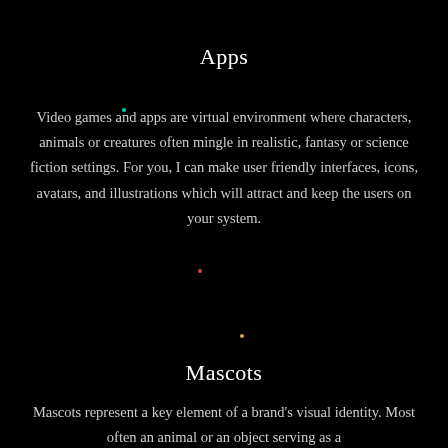Apps
Video games and apps are virtual environment where characters, animals or creatures often mingle in realistic, fantasy or science fiction settings. For you, I can make user friendly interfaces, icons, avatars, and illustrations which will attract and keep the users on your system.
Mascots
Mascots represent a key element of a brand's visual identity. Most often an animal or an object serving as a